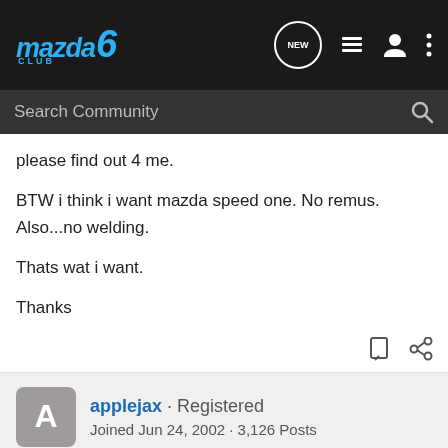Mazda6 Club — Navigation bar with search
please find out 4 me.

BTW i think i want mazda speed one. No remus. Also...no welding.

Thats wat i want.

Thanks
applejax · Registered
Joined Jun 24, 2002 · 3,126 Posts
#7 · Nov 1, 2002